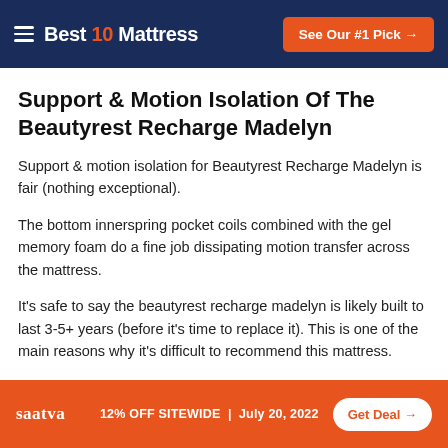Best 10 Mattress | See Our #1 Pick →
Support & Motion Isolation Of The Beautyrest Recharge Madelyn
Support & motion isolation for Beautyrest Recharge Madelyn is fair (nothing exceptional).
The bottom innerspring pocket coils combined with the gel memory foam do a fine job dissipating motion transfer across the mattress.
It's safe to say the beautyrest recharge madelyn is likely built to last 3-5+ years (before it's time to replace it). This is one of the main reasons why it's difficult to recommend this mattress.
Breathability & Heat Transfer For Beautyrest Recharge Madelyn
saatva | 12% OFF SITEWIDE | July 20, 2022 | Get Deal →